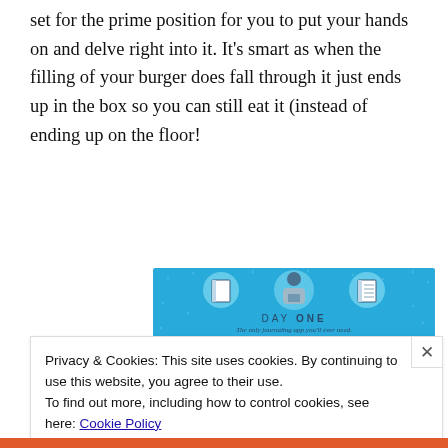set for the prime position for you to put your hands on and delve right into it. It's smart as when the filling of your burger does fall through it just ends up in the box so you can still eat it (instead of ending up on the floor!
[Figure (illustration): Blue promotional banner for 'Day One' journaling app. Shows an illustrated person holding a phone with two circular icons above (a blank notebook and a lined notebook). Text reads 'DAY ONE' and 'The only journaling app you'll ever need.']
Privacy & Cookies: This site uses cookies. By continuing to use this website, you agree to their use.
To find out more, including how to control cookies, see here: Cookie Policy
Close and accept